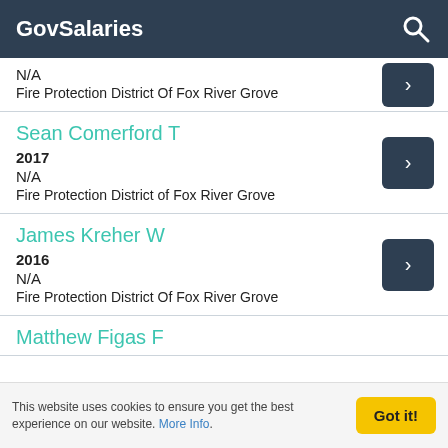GovSalaries
N/A
Fire Protection District Of Fox River Grove
Sean Comerford T
2017
N/A
Fire Protection District of Fox River Grove
James Kreher W
2016
N/A
Fire Protection District Of Fox River Grove
Matthew Figas F
This website uses cookies to ensure you get the best experience on our website. More Info.